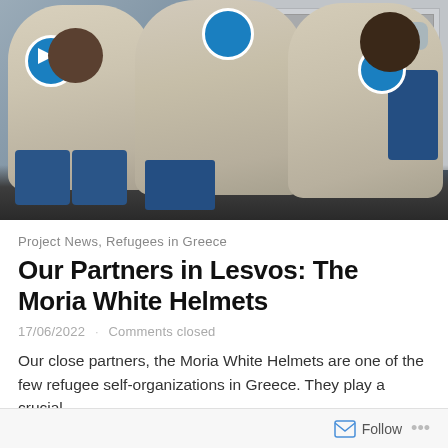[Figure (photo): Three workers in white/beige vests with blue circular logos (Moria White Helmets emblem) crouching and working on an electrical panel. The workers are wearing blue clothing underneath their vests. One worker on the right wears a face mask.]
Project News, Refugees in Greece
Our Partners in Lesvos: The Moria White Helmets
17/06/2022   Comments closed
Our close partners, the Moria White Helmets are one of the few refugee self-organizations in Greece. They play a crucial...
Follow